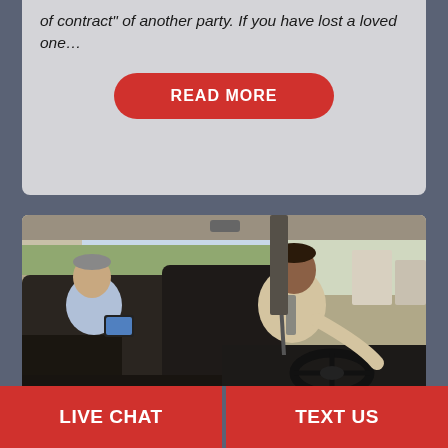of contract" of another party. If you have lost a loved one…
[Figure (other): Red rounded button reading READ MORE in white bold text]
[Figure (photo): Interior of a car showing a driver (man in light shirt with seatbelt, steering wheel) and a passenger in the back seat holding a tablet device. Street and trees visible through windows.]
LIVE CHAT
TEXT US